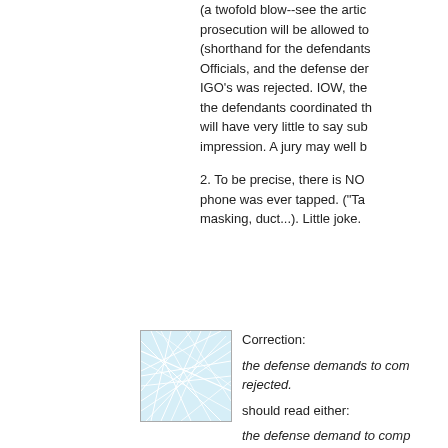(a twofold blow--see the arti prosecution will be allowed to (shorthand for the defendants' Officials, and the defense dem IGO's was rejected. IOW, the the defendants coordinated th will have very little to say sub impression. A jury may well b
2. To be precise, there is NO phone was ever tapped. ("Tap masking, duct...). Little joke.
[Figure (illustration): Small thumbnail image showing a light blue abstract network/map pattern with intersecting white lines on a pale blue background]
Correction:
the defense demands to com rejected.
should read either:
the defense demand to comp rejected.
or